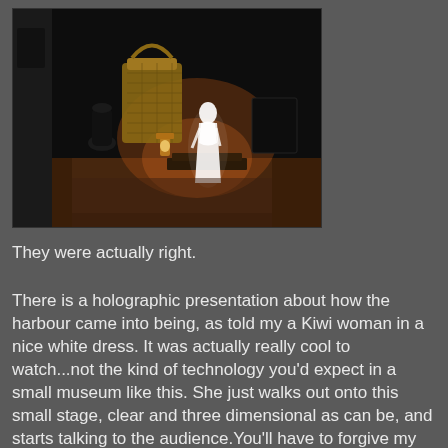[Figure (photo): A dark theatre stage with warm amber lighting showing a holographic woman in a white dress standing on stage, surrounded by props including a large wicker basket, a lantern, and other stage items.]
They were actually right.
There is a holographic presentation about how the harbour came into being, as told my a Kiwi woman in a nice white dress. It was actually really cool to watch...not the kind of technology you'd expect in a small museum like this. She just walks out onto this small stage, clear and three dimensional as can be, and starts talking to the audience.You'll have to forgive my unclear pictures of her. She moves and talks throughout the presentation and, since she's a tiny hologram...you can't really ask her to sit still for